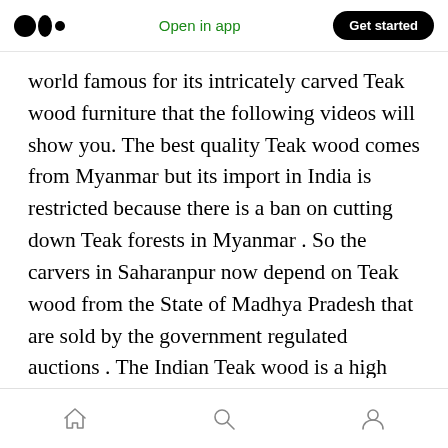Medium — Open in app | Get started
world famous for its intricately carved Teak wood furniture that the following videos will show you. The best quality Teak wood comes from Myanmar but its import in India is restricted because there is a ban on cutting down Teak forests in Myanmar . So the carvers in Saharanpur now depend on Teak wood from the State of Madhya Pradesh that are sold by the government regulated auctions . The Indian Teak wood is a high quality hard wood that gives excellent luster and shine after polishing so the furniture of Teak are in great demand in spite of
Home | Search | Profile